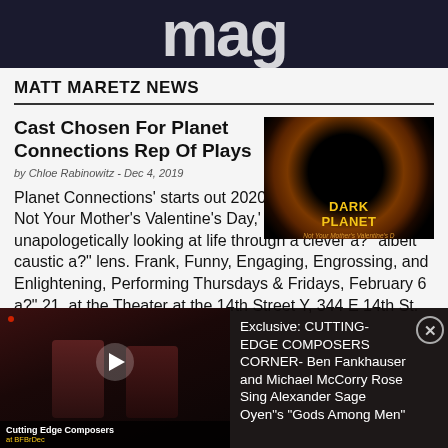[Figure (logo): Dark banner with large white stylized text 'mag' visible at top]
MATT MARETZ NEWS
Cast Chosen For Planet Connections Rep Of Plays
by Chloe Rabinowitz - Dec 4, 2019
[Figure (photo): Dark Planet promotional image showing solar eclipse with yellow text DARK PLANET Not Your Mother's Valentine's Day]
Planet Connections' starts out 2020 with 'DARK PLANET: Not Your Mother's Valentine's Day,' short plays unapologetically looking at life through a clever a?" albeit caustic a?" lens. Frank, Funny, Engaging, Engrossing, and Enlightening, Performing Thursdays & Fridays, February 6 a?" 21, at the Theater at the 14th Street Y, 344 E 14th St.
[Figure (screenshot): Popup overlay showing video thumbnail of two men on dark stage with play button, labeled Cutting Edge Composers at BFBrDec, and text: Exclusive: CUTTING-EDGE COMPOSERS CORNER- Ben Fankhauser and Michael McCorry Rose Sing Alexander Sage Oyen's "Gods Among Men"]